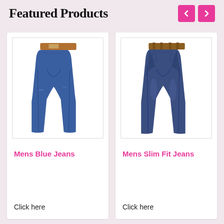Featured Products
[Figure (illustration): Navigation arrows: left chevron and right chevron in pink/magenta rounded square buttons]
[Figure (photo): Mens blue slim-fit jeans, shown from the back, standing pose on white background]
Mens Blue Jeans
Click here
[Figure (photo): Mens slim fit jeans, darker blue wash, shown from the back on white background]
Mens Slim Fit Jeans
Click here